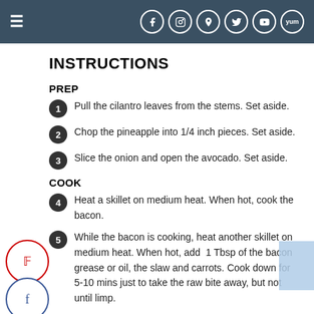≡  [social icons: Facebook, Instagram, Pinterest, Twitter, YouTube, Yummly]
INSTRUCTIONS
PREP
1. Pull the cilantro leaves from the stems. Set aside.
2. Chop the pineapple into 1/4 inch pieces. Set aside.
3. Slice the onion and open the avocado. Set aside.
COOK
4. Heat a skillet on medium heat. When hot, cook the bacon.
5. While the bacon is cooking, heat another skillet on medium heat. When hot, add 1 Tbsp of the bacon grease or oil, the slaw and carrots. Cook down for 5-10 mins just to take the raw bite away, but not until limp.
6. Remove the slaw and set aside. The bacon…